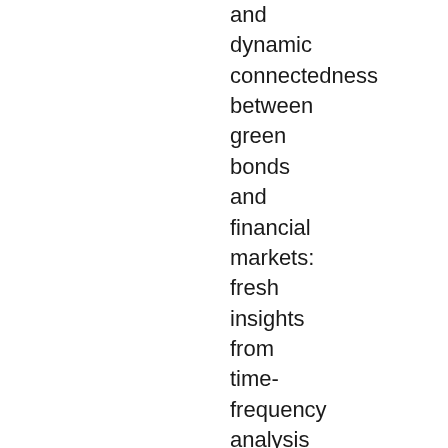and dynamic connectedness between green bonds and financial markets: fresh insights from time-frequency analysis before and during COVID-19 pandemic.', Energy